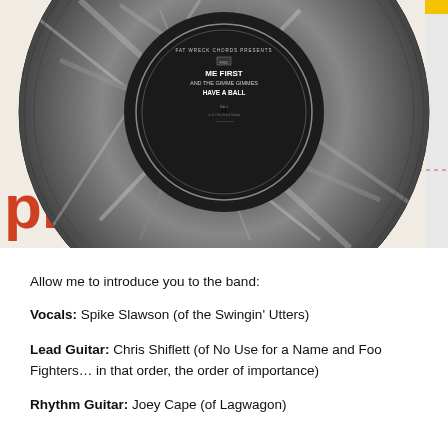[Figure (photo): A gray marbled vinyl record displayed over a record sleeve with red and yellow text partially visible. The record label reads 'ME FIRST and the GIMME GIMMES HAVE A BALL' on a Fat Wreck Chords label.]
Allow me to introduce you to the band:
Vocals: Spike Slawson (of the Swingin' Utters)
Lead Guitar: Chris Shiflett (of No Use for a Name and Foo Fighters… in that order, the order of importance)
Rhythm Guitar: Joey Cape (of Lagwagon)